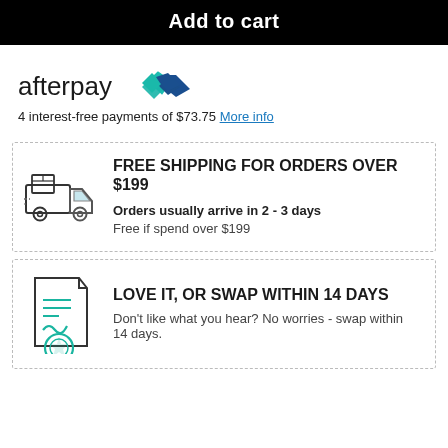Add to cart
[Figure (logo): Afterpay logo with mint/teal chevron symbol]
4 interest-free payments of $73.75 More info
[Figure (illustration): Delivery truck icon]
FREE SHIPPING FOR ORDERS OVER $199
Orders usually arrive in 2 - 3 days
Free if spend over $199
[Figure (illustration): Certificate/document with seal icon]
LOVE IT, OR SWAP WITHIN 14 DAYS
Don't like what you hear? No worries - swap within 14 days.